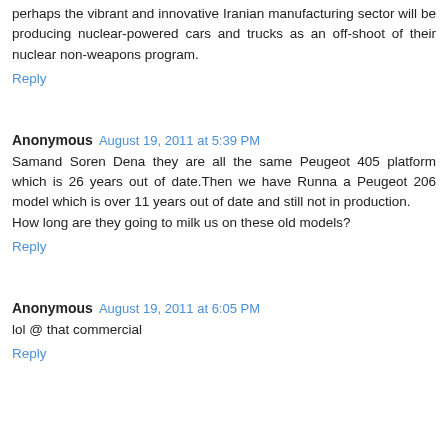perhaps the vibrant and innovative Iranian manufacturing sector will be producing nuclear-powered cars and trucks as an off-shoot of their nuclear non-weapons program.
Reply
Anonymous August 19, 2011 at 5:39 PM
Samand Soren Dena they are all the same Peugeot 405 platform which is 26 years out of date.Then we have Runna a Peugeot 206 model which is over 11 years out of date and still not in production.
How long are they going to milk us on these old models?
Reply
Anonymous August 19, 2011 at 6:05 PM
lol @ that commercial
Reply